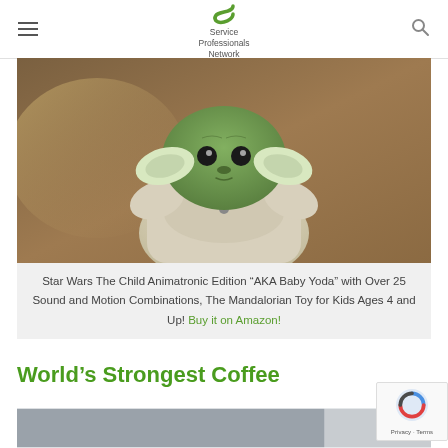Service Professionals Network
[Figure (photo): Baby Yoda animatronic plush toy sitting on a wooden surface, wearing a beige robe with arms raised slightly]
Star Wars The Child Animatronic Edition “AKA Baby Yoda” with Over 25 Sound and Motion Combinations, The Mandalorian Toy for Kids Ages 4 and Up! Buy it on Amazon!
World’s Strongest Coffee
[Figure (photo): Partial view of bottom content related to World's Strongest Coffee]